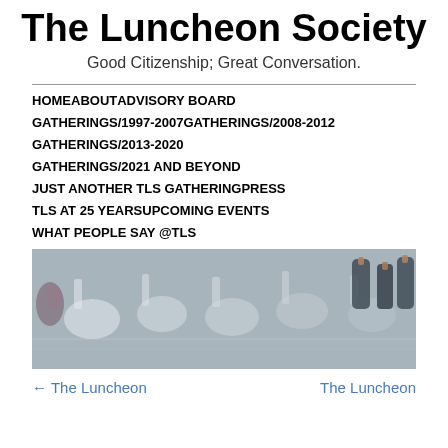The Luncheon Society
Good Citizenship; Great Conversation.
HOME
ABOUT
ADVISORY BOARD
GATHERINGS/1997-2007
GATHERINGS/2008-2012
GATHERINGS/2013-2020
GATHERINGS/2021 AND BEYOND
JUST ANOTHER TLS GATHERING
PRESS
TLS AT 25 YEARS
UPCOMING EVENTS
WHAT PEOPLE SAY @TLS
[Figure (photo): Photo of a formal luncheon table setting with glassware, plates, and silverware.]
← The Luncheon    The Luncheon